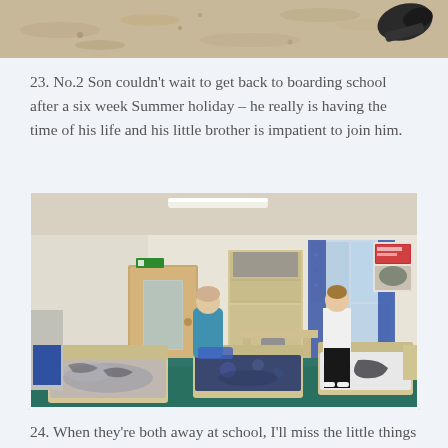[Figure (photo): Top portion of a photo showing sandy ground and a dark shoe/boot at the top right corner]
23. No.2 Son couldn't wait to get back to boarding school after a six week Summer holiday – he really is having the time of his life and his little brother is impatient to join him.
[Figure (photo): Interior of a boarding school dormitory room with multiple beds with patterned duvets, wooden furniture including desks and wardrobes, blue curtains on windows, and two children visible in the room. The room has teal/green carpet and cream walls.]
24. When they're both away at school, I'll miss the little things that make home special while being like this...